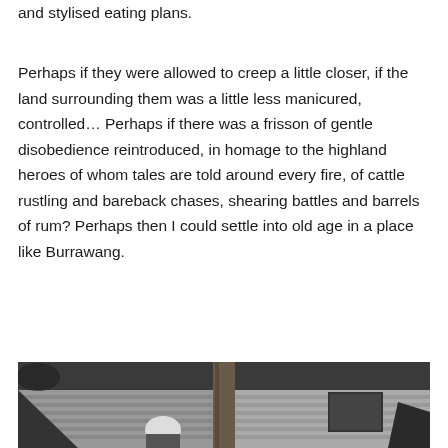and stylised eating plans.
Perhaps if they were allowed to creep a little closer, if the land surrounding them was a little less manicured, controlled… Perhaps if there was a frisson of gentle disobedience reintroduced, in homage to the highland heroes of whom tales are told around every fire, of cattle rustling and bareback chases, shearing battles and barrels of rum? Perhaps then I could settle into old age in a place like Burrawang.
[Figure (photo): Black and white photograph of an older person standing on a wooden porch or veranda of a weatherboard building, with a wooden post in the foreground.]